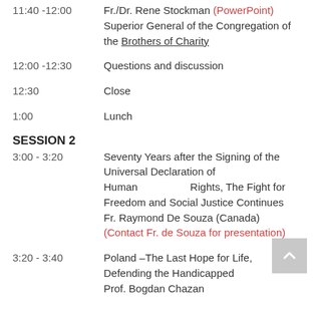11:40 -12:00   Fr./Dr. Rene Stockman (PowerPoint) Superior General of the Congregation of the Brothers of Charity
12:00 -12:30   Questions and discussion
12:30   Close
1:00   Lunch
SESSION 2
3:00 - 3:20   Seventy Years after the Signing of the Universal Declaration of Human Rights, The Fight for Freedom and Social Justice Continues   Fr. Raymond De Souza (Canada) (Contact Fr. de Souza for presentation)
3:20 - 3:40   Poland –The Last Hope for Life, Defending the Handicapped   Prof. Bogdan Chazan